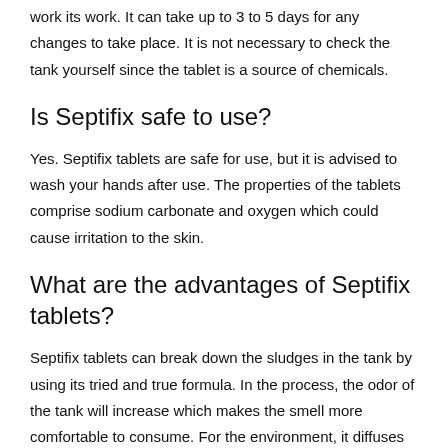work its work. It can take up to 3 to 5 days for any changes to take place. It is not necessary to check the tank yourself since the tablet is a source of chemicals.
Is Septifix safe to use?
Yes. Septifix tablets are safe for use, but it is advised to wash your hands after use. The properties of the tablets comprise sodium carbonate and oxygen which could cause irritation to the skin.
What are the advantages of Septifix tablets?
Septifix tablets can break down the sludges in the tank by using its tried and true formula. In the process, the odor of the tank will increase which makes the smell more comfortable to consume. For the environment, it diffuses oxygen, which makes wastes transform into nutrients. The most important benefit is to reduce